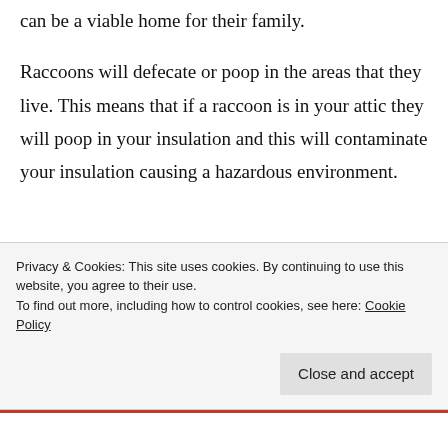can be a viable home for their family.
Raccoons will defecate or poop in the areas that they live. This means that if a raccoon is in your attic they will poop in your insulation and this will contaminate your insulation causing a hazardous environment.
Privacy & Cookies: This site uses cookies. By continuing to use this website, you agree to their use.
To find out more, including how to control cookies, see here: Cookie Policy